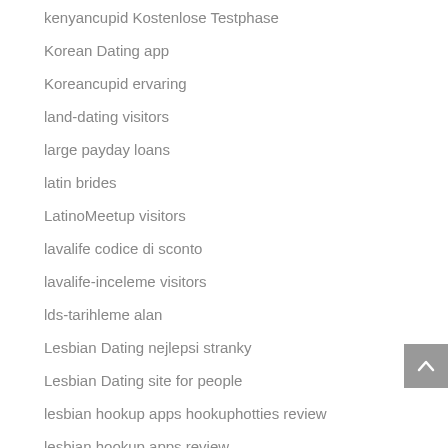kenyancupid Kostenlose Testphase
Korean Dating app
Koreancupid ervaring
land-dating visitors
large payday loans
latin brides
LatinoMeetup visitors
lavalife codice di sconto
lavalife-inceleme visitors
lds-tarihleme alan
Lesbian Dating nejlepsi stranky
Lesbian Dating site for people
lesbian hookup apps hookuphotties review
lesbian hookup apps review
Lesbian Hookup Apps reviews